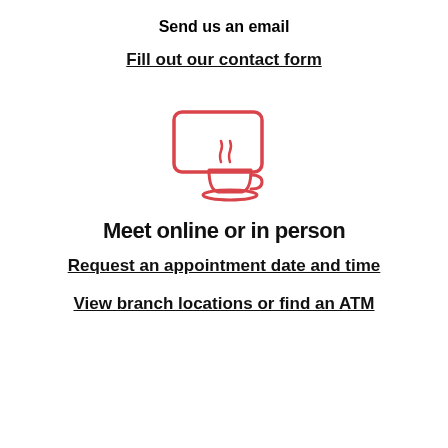Send us an email
Fill out our contact form
[Figure (illustration): Icon of a laptop screen with a coffee cup and saucer in front, drawn in red outline style]
Meet online or in person
Request an appointment date and time
View branch locations or find an ATM